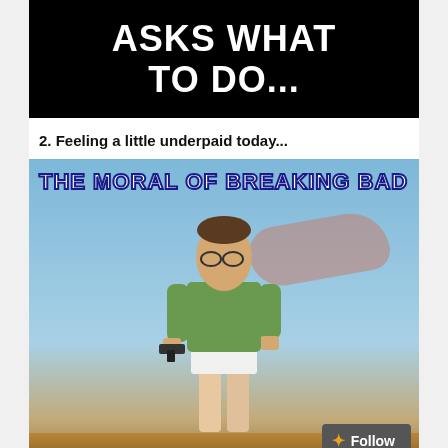[Figure (illustration): Top portion of a meme with black background and white bold text reading 'ASKS WHAT TO DO...']
2. Feeling a little underpaid today...
[Figure (illustration): Meme image with text 'THE MORAL OF BREAKING BAD' over a photo of a man in a green shirt and white underwear holding a gun, standing in a desert landscape with blue sky and pink clouds.]
Follow